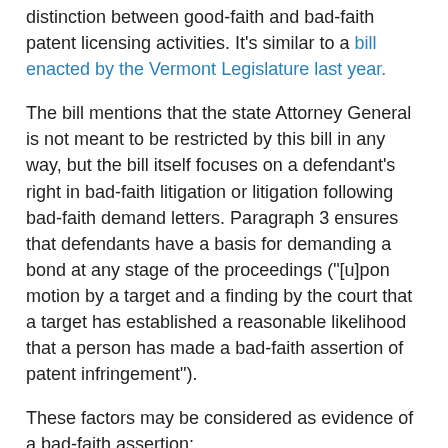distinction between good-faith and bad-faith patent licensing activities. It's similar to a bill enacted by the Vermont Legislature last year.
The bill mentions that the state Attorney General is not meant to be restricted by this bill in any way, but the bill itself focuses on a defendant's right in bad-faith litigation or litigation following bad-faith demand letters. Paragraph 3 ensures that defendants have a basis for demanding a bond at any stage of the proceedings ("[u]pon motion by a target and a finding by the court that a target has established a reasonable likelihood that a person has made a bad-faith assertion of patent infringement").
These factors may be considered as evidence of a bad-faith assertion:
A demand letter fails to state the patent number, the name and address of the patent owner(s)/assignee(s), or specific factual allegations relating to the infringement claim.
A patent holder fails to conduct a reasonably